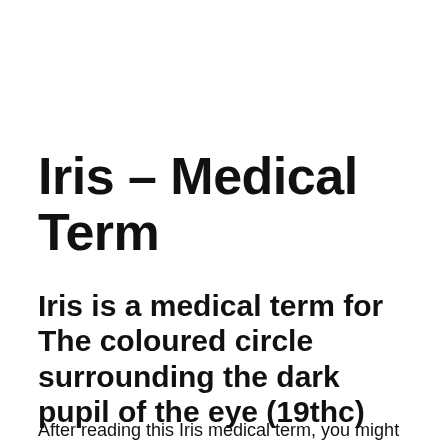Iris – Medical Term
Iris is a medical term for The coloured circle surrounding the dark pupil of the eye (19thc)
After reading this Iris medical term, you might